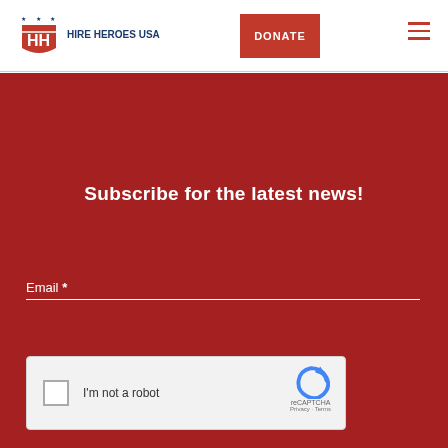[Figure (logo): Hire Heroes USA logo with shield icon and stars]
DONATE
Subscribe for the latest news!
Email *
[Figure (other): reCAPTCHA widget with checkbox and 'I'm not a robot' text]
SIGN UP >